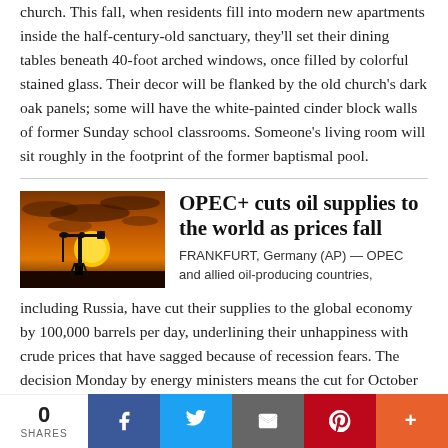church. This fall, when residents fill into modern new apartments inside the half-century-old sanctuary, they'll set their dining tables beneath 40-foot arched windows, once filled by colorful stained glass. Their decor will be flanked by the old church's dark oak panels; some will have the white-painted cinder block walls of former Sunday school classrooms. Someone's living room will sit roughly in the footprint of the former baptismal pool.
OPEC+ cuts oil supplies to the world as prices fall
[Figure (photo): Silhouette of an oil pump jack against a dramatic orange sunset sky with clouds]
FRANKFURT, Germany (AP) — OPEC and allied oil-producing countries, including Russia, have cut their supplies to the global economy by 100,000 barrels per day, underlining their unhappiness with crude prices that have sagged because of recession fears. The decision Monday by energy ministers means the cut for October rolls back the mostly symbolic increase of the same amount in September.
0 SHARES | Facebook | Twitter | Email | Pinterest | More